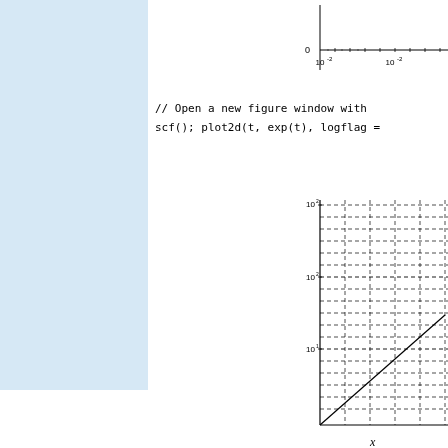[Figure (continuous-plot): Top portion of a log-scale plot showing x-axis with tick marks and labels 10^-2 and 10^-2, y-axis shows 0 at top]
// Open a new figure window with
scf(); plot2d(t, exp(t), logflag =
[Figure (continuous-plot): Semi-log plot of exp(t) showing a straight line on log-y scale with dashed grid lines. Y-axis labeled 10^2, 10^2, 10^1. The line rises from lower left to upper right.]
x